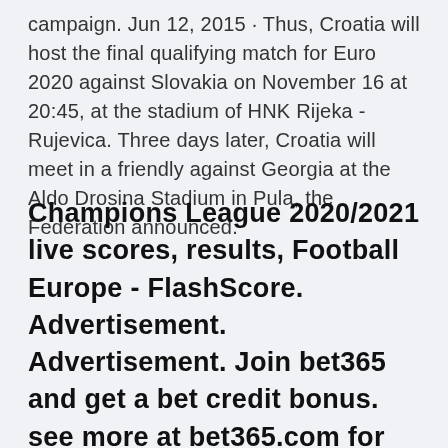campaign. Jun 12, 2015 · Thus, Croatia will host the final qualifying match for Euro 2020 against Slovakia on November 16 at 20:45, at the stadium of HNK Rijeka - Rujevica. Three days later, Croatia will meet in a friendly against Georgia at the Aldo Drosina Stadium in Pula, the Federation announced.
Champions League 2020/2021 live scores, results, Football Europe - FlashScore. Advertisement. Advertisement. Join bet365 and get a bet credit bonus. see more at bet365.com for latest offers and details. Geo-variations and T&Cs apply. 18+ gamblingtherapy.org.